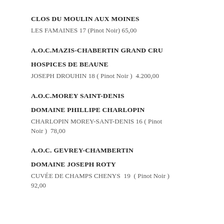CLOS DU MOULIN AUX MOINES
LES FAMAINES 17 (Pinot Noir) 65,00
A.O.C.MAZIS-CHABERTIN GRAND CRU
HOSPICES DE BEAUNE
JOSEPH DROUHIN 18 ( Pinot Noir )  4.200,00
A.O.C.MOREY SAINT-DENIS
DOMAINE PHILLIPE CHARLOPIN
CHARLOPIN MOREY-SANT-DENIS 16 ( Pinot Noir )  78,00
A.O.C. GEVREY-CHAMBERTIN
DOMAINE JOSEPH ROTY
CUVÉE DE CHAMPS CHENYS  19  ( Pinot Noir )  92,00